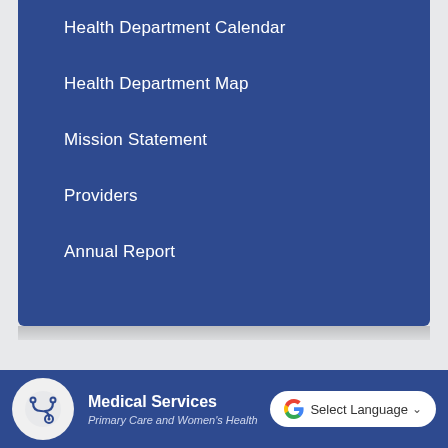Health Department Calendar
Health Department Map
Mission Statement
Providers
Annual Report
[Figure (logo): Stethoscope icon in a circular grey background]
Medical Services
Primary Care and Women's Health
[Figure (logo): Google G logo with Select Language dropdown button]